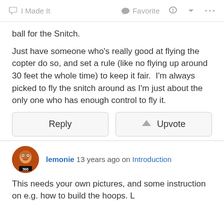I Made It  Favorite  ...
ball for the Snitch.
Just have someone who's really good at flying the copter do so, and set a rule (like no flying up around 30 feet the whole time) to keep it fair.  I'm always picked to fly the snitch around as I'm just about the only one who has enough control to fly it.
Reply  Upvote
lemonie 13 years ago on Introduction
This needs your own pictures, and some instruction on e.g. how to build the hoops. L